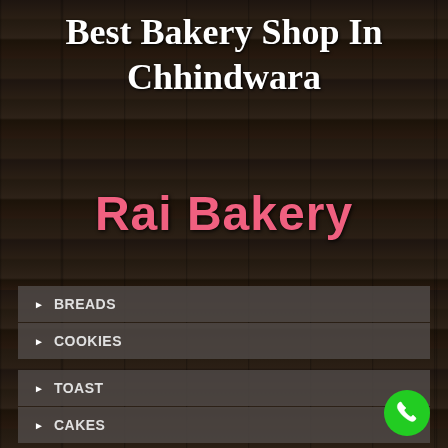Best Bakery Shop In Chhindwara
Rai Bakery
BREADS
COOKIES
TOAST
CAKES